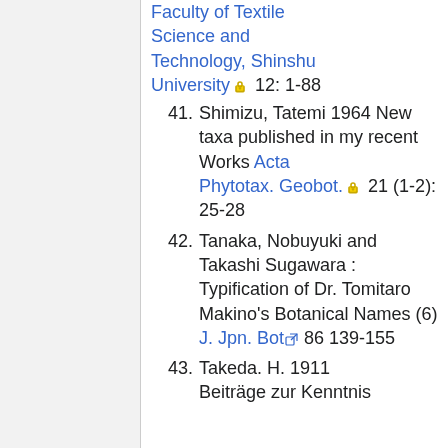Faculty of Textile Science and Technology, Shinshu University 🔒 12: 1-88
41. Shimizu, Tatemi 1964 New taxa published in my recent Works Acta Phytotax. Geobot.🔒 21 (1-2): 25-28
42. Tanaka, Nobuyuki and Takashi Sugawara : Typification of Dr. Tomitaro Makino's Botanical Names (6) J. Jpn. Bot🔗 86 139-155
43. Takeda. H. 1911 Beiträge zur Kenntnis...